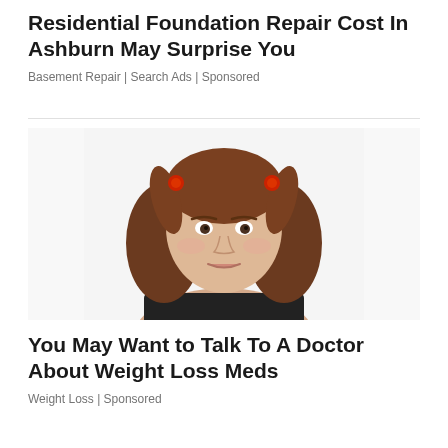Residential Foundation Repair Cost In Ashburn May Surprise You
Basement Repair | Search Ads | Sponsored
[Figure (photo): Portrait photo of a young woman with brown hair in two pigtails held by red hair clips, wearing a black top, looking directly at camera against a white background]
You May Want to Talk To A Doctor About Weight Loss Meds
Weight Loss | Sponsored